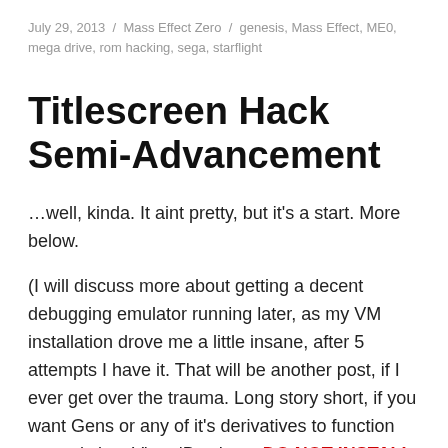July 29, 2013 / Mass Effect Zero / genesis, Mass Effect, ME0, mega drive, rom hacking, sega, starflight
Titlescreen Hack Semi-Advancement
…well, kinda. It aint pretty, but it's a start. More below.
(I will discuss more about getting a decent debugging emulator running later, as my VM installation drove me a little insane, after 5 attempts I have it. That will be another post, if I ever get over the trauma. Long story short, if you want Gens or any of it's derivatives to function properly in a VirtualBox host, DO NOT INSTALL GUEST ADDITIONS. For that path leads to